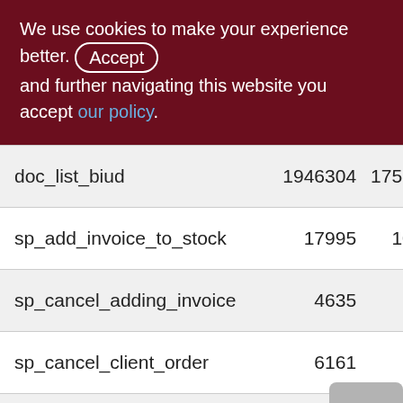We use cookies to make your experience better. By Accepting and further navigating this website you accept our policy.
|  |  |  |
| --- | --- | --- |
| doc_list_biud | 1946304 | 17527 |
| sp_add_invoice_to_stock | 17995 | 108 |
| sp_cancel_adding_invoice | 4635 | 35 |
| sp_cancel_client_order | 6161 | 59 |
| sp_cancel_customer_reserve | 402109 | 2198 |